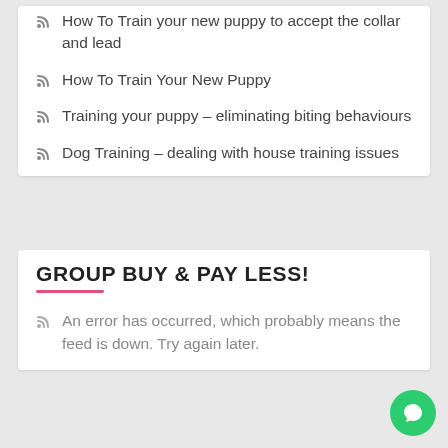How To Train your new puppy to accept the collar and lead
How To Train Your New Puppy
Training your puppy – eliminating biting behaviours
Dog Training – dealing with house training issues
GROUP BUY & PAY LESS!
An error has occurred, which probably means the feed is down. Try again later.